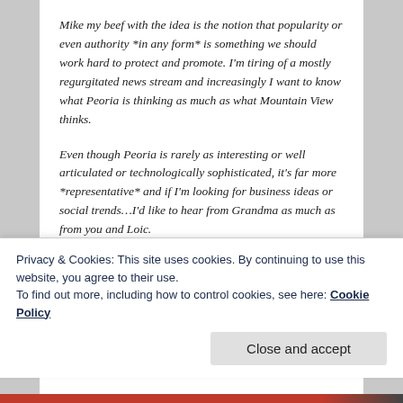Mike my beef with the idea is the notion that popularity or even authority *in any form* is something we should work hard to protect and promote. I'm tiring of a mostly regurgitated news stream and increasingly I want to know what Peoria is thinking as much as what Mountain View thinks.
Even though Peoria is rarely as interesting or well articulated or technologically sophisticated, it's far more *representative* and if I'm looking for business ideas or social trends…I'd like to hear from Grandma as much as from you and Loic.
Privacy & Cookies: This site uses cookies. By continuing to use this website, you agree to their use.
To find out more, including how to control cookies, see here: Cookie Policy